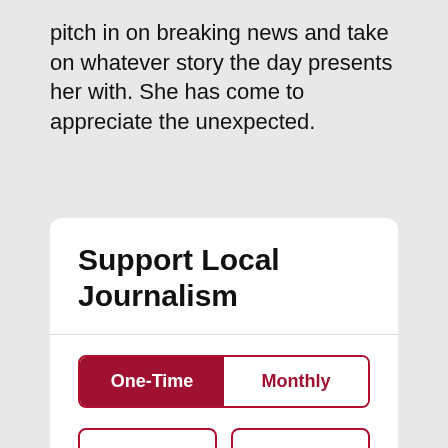pitch in on breaking news and take on whatever story the day presents her with. She has come to appreciate the unexpected.
Support Local Journalism
One-Time | Monthly
$10 | $25